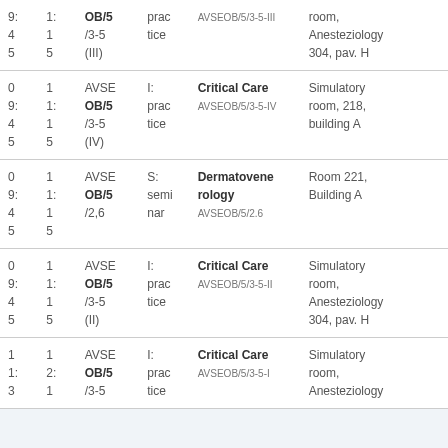| Col1 | Col2 | Col3 | Col4 | Col5 | Col6 |
| --- | --- | --- | --- | --- | --- |
| 0
9:
4
5 | 1
1:
1
5 | AVSE
OB/5
/3-5
(III) | I:
prac
tice | AVSEOB/5/3-5-III (partial cut off top) | room,
Anesteziology
304, pav. H |
| 0
9:
4
5 | 1
1:
1
5 | AVSE
OB/5
/3-5
(IV) | I:
prac
tice | Critical Care
AVSEOB/5/3-5-IV | Simulatory
room, 218,
building A |
| 0
9:
4
5 | 1
1:
1
5 | AVSE
OB/5
/2,6 | S:
semi
nar | Dermatovenerology
AVSEOB/5/2.6 | Room 221,
Building A |
| 0
9:
4
5 | 1
1:
1
5 | AVSE
OB/5
/3-5
(II) | I:
prac
tice | Critical Care
AVSEOB/5/3-5-II | Simulatory
room,
Anesteziology
304, pav. H |
| 1
1:
3 | 1
2:
1 | AVSE
OB/5
/3-5 | I:
prac
tice | Critical Care
AVSEOB/5/3-5-I | Simulatory
room,
Anesteziology |